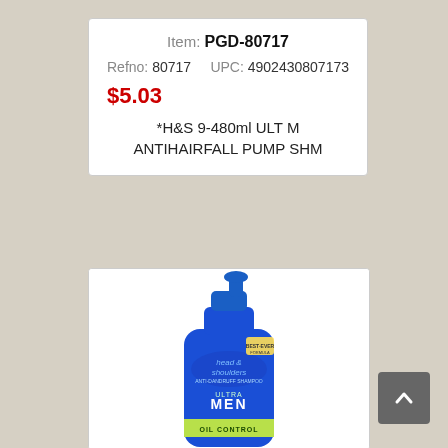Item: PGD-80717
Refno: 80717    UPC: 4902430807173
$5.03
*H&S 9-480ml ULT M ANTIHAIRFALL PUMP SHM
[Figure (photo): Head & Shoulders Ultra Men Oil Control anti-dandruff shampoo pump bottle, 480ml, blue packaging]